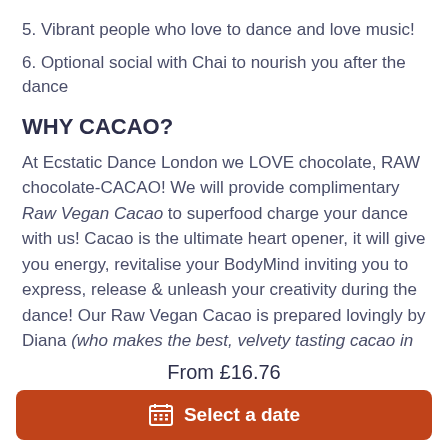5. Vibrant people who love to dance and love music!
6. Optional social with Chai to nourish you after the dance
WHY CACAO?
At Ecstatic Dance London we LOVE chocolate, RAW chocolate-CACAO! We will provide complimentary Raw Vegan Cacao to superfood charge your dance with us! Cacao is the ultimate heart opener, it will give you energy, revitalise your BodyMind inviting you to express, release & unleash your creativity during the dance! Our Raw Vegan Cacao is prepared lovingly by Diana (who makes the best, velvety tasting cacao in town for sure!). She uses ethically sourced, highest
From £16.76
Select a date